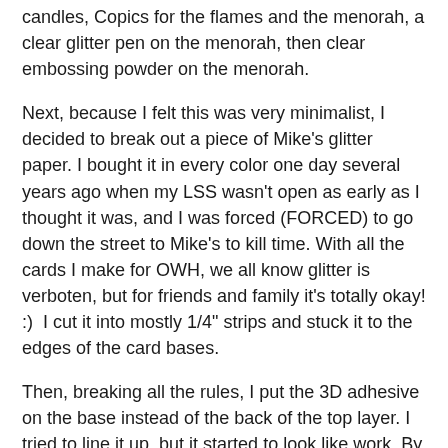candles, Copics for the flames and the menorah, a clear glitter pen on the menorah, then clear embossing powder on the menorah.
Next, because I felt this was very minimalist, I decided to break out a piece of Mike's glitter paper. I bought it in every color one day several years ago when my LSS wasn't open as early as I thought it was, and I was forced (FORCED) to go down the street to Mike's to kill time. With all the cards I make for OWH, we all know glitter is verboten, but for friends and family it's totally okay! :)  I cut it into mostly 1/4" strips and stuck it to the edges of the card bases.
Then, breaking all the rules, I put the 3D adhesive on the base instead of the back of the top layer. I tried to line it up, but it started to look like work. By putting the foam squares on the base, I could get them close to the glitter strips and the corners and make sure I minimized saggage.
So that's it. My Chanukkah cards for this year. Now it's YOUR turn. Have you started your holiday cards yet? Don't do holiday cards? Then how about a Winter theme? Snow?